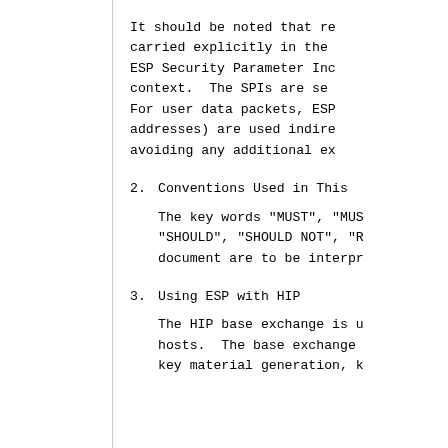It should be noted that re carried explicitly in the ESP Security Parameter Inc context.  The SPIs are se For user data packets, ESP addresses) are used indire avoiding any additional ex
2.  Conventions Used in This
The key words "MUST", "MUS "SHOULD", "SHOULD NOT", "R document are to be interpr
3.  Using ESP with HIP
The HIP base exchange is u hosts.  The base exchange key material generation, k